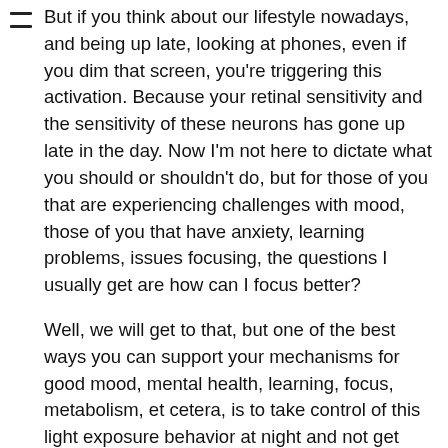But if you think about our lifestyle nowadays, and being up late, looking at phones, even if you dim that screen, you're triggering this activation. Because your retinal sensitivity and the sensitivity of these neurons has gone up late in the day. Now I'm not here to dictate what you should or shouldn't do, but for those of you that are experiencing challenges with mood, those of you that have anxiety, learning problems, issues focusing, the questions I usually get are how can I focus better?
Well, we will get to that, but one of the best ways you can support your mechanisms for good mood, mental health, learning, focus, metabolism, et cetera, is to take control of this light exposure behavior at night and not get much or any bright light exposure in the middle of the night.
Red light won't trigger this pathway, but very few people have the kind of infrared lights that are set up or floor light...